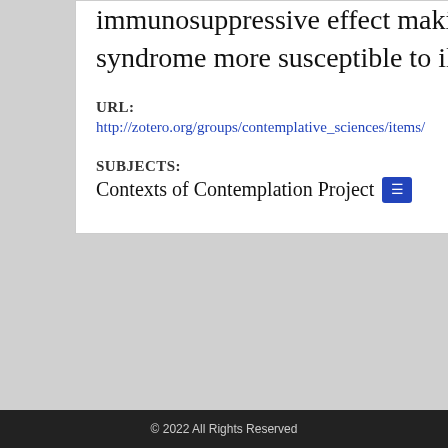immunosuppressive effect making individuals characterized by this syndrome more susceptible to illness.
URL:
http://zotero.org/groups/contemplative_sciences/items/
SUBJECTS:
Contexts of Contemplation Project
© 2022 All Rights Reserved